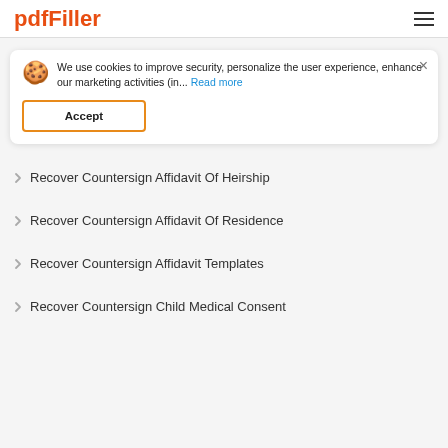pdfFiller
We use cookies to improve security, personalize the user experience, enhance our marketing activities (in... Read more
Accept
Recover Countersign Affidavit Of Heirship
Recover Countersign Affidavit Of Residence
Recover Countersign Affidavit Templates
Recover Countersign Child Medical Consent